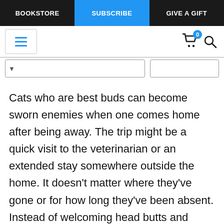BOOKSTORE | SUBSCRIBE | GIVE A GIFT
[Figure (screenshot): Website navigation bar with hamburger menu icon, shopping cart with badge showing 0, and search icon]
Cats who are best buds can become sworn enemies when one comes home after being away. The trip might be a quick visit to the veterinarian or an extended stay somewhere outside the home. It doesn’t matter where they’ve gone or for how long they’ve been absent. Instead of welcoming head butts and licks, violence erupts — often escalating from hisses and vocalizing into serious aggression.